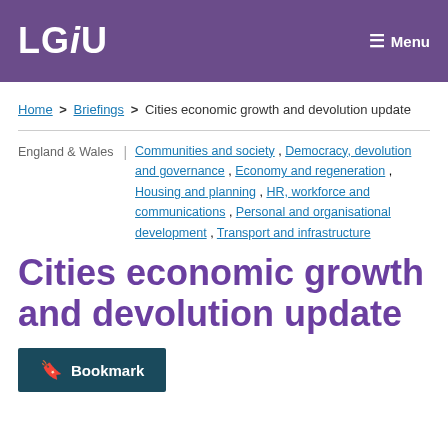LGiU  Menu
Home > Briefings > Cities economic growth and devolution update
England & Wales | Communities and society, Democracy, devolution and governance, Economy and regeneration, Housing and planning, HR, workforce and communications, Personal and organisational development, Transport and infrastructure
Cities economic growth and devolution update
Bookmark